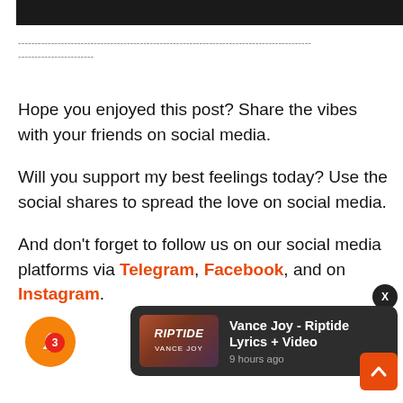[Figure (other): Dark top bar / header image strip]
-----------------------------------------------------------------------------------------
-----------------------
Hope you enjoyed this post? Share the vibes with your friends on social media.
Will you support my best feelings today? Use the social shares to spread the love on social media.
And don't forget to follow us on our social media platforms via Telegram, Facebook, and on Instagram.
[Figure (screenshot): Notification popup showing 'Vance Joy - Riptide Lyrics + Video' with thumbnail and '9 hours ago' timestamp, dark background card]
[Figure (other): Bell notification icon button with orange background and red badge showing '3']
[Figure (other): Orange up-arrow scroll-to-top button]